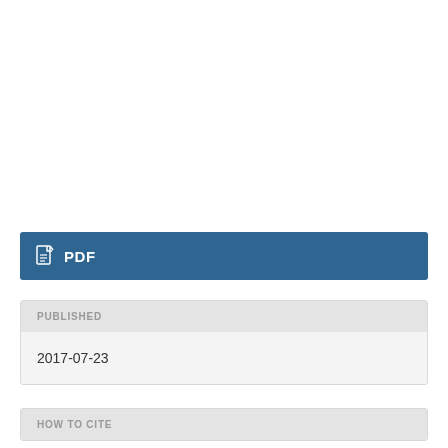[Figure (other): Blue PDF download button with document icon and 'PDF' label in white bold text]
PUBLISHED
2017-07-23
HOW TO CITE